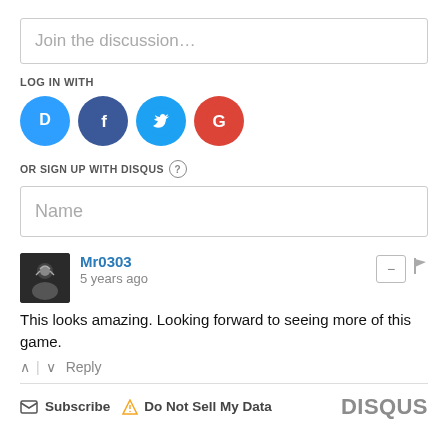Join the discussion…
LOG IN WITH
[Figure (other): Social login icons: Disqus (blue speech bubble D), Facebook (dark blue F), Twitter (light blue bird), Google (red G)]
OR SIGN UP WITH DISQUS ?
Name
Mr0303
5 years ago
This looks amazing. Looking forward to seeing more of this game.
^ | v  Reply
Subscribe  Do Not Sell My Data  DISQUS